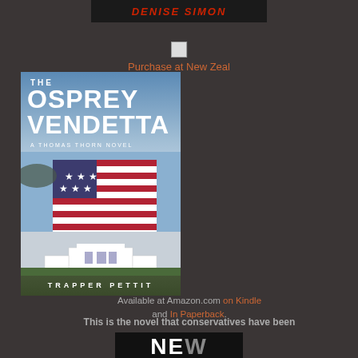[Figure (logo): Denise Simon header banner with red text on black background]
Purchase at New Zeal
[Figure (photo): Book cover of 'The Osprey Vendetta - A Thomas Thorn Novel' by Trapper Pettit, showing American flag and White House]
Available at Amazon.com on Kindle and In Paperback. This is the novel that conservatives have been dying for.
[Figure (logo): Partial bottom logo, showing large bold letters]